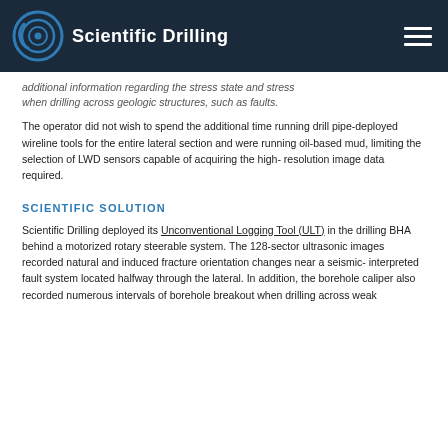Scientific Drilling
additional information regarding the stress state and stress when drilling across geologic structures, such as faults.
The operator did not wish to spend the additional time running drill pipe-deployed wireline tools for the entire lateral section and were running oil-based mud, limiting the selection of LWD sensors capable of acquiring the high-resolution image data required.
SCIENTIFIC SOLUTION
Scientific Drilling deployed its Unconventional Logging Tool (ULT) in the drilling BHA behind a motorized rotary steerable system. The 128-sector ultrasonic images recorded natural and induced fracture orientation changes near a seismic-interpreted fault system located halfway through the lateral. In addition, the borehole caliper also recorded numerous intervals of borehole breakout when drilling across weak